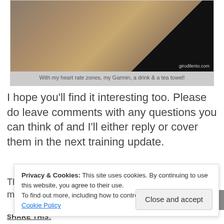[Figure (photo): Photo of exercise bike equipment on wooden floor, partially cropped at top, with watermark 'girodilento.com']
With my heart rate zones, my Garmin, a drink & a tea towel!
I hope you’ll find it interesting too. Please do leave comments with any questions you can think of and I’ll either reply or cover them in the next training update.
Thanks for reading and thanks to Wattbike for giving me the
Privacy & Cookies: This site uses cookies. By continuing to use this website, you agree to their use.
To find out more, including how to control cookies, see here: Cookie Policy
Close and accept
SHARE THIS: